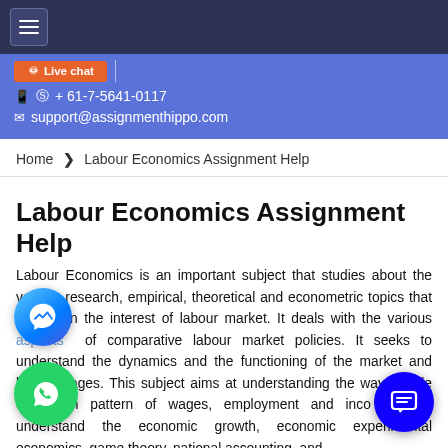≡ (navigation menu)
Live chat | 📱 ©️ + 61-7-5641-0117 | ✉ support@assignmenthippo.com
Home > Labour Economics Assignment Help
Labour Economics Assignment Help
Labour Economics is an important subject that studies about the various research, empirical, theoretical and econometric topics that are within the interest of labour market. It deals with the various aspects of comparative labour market policies. It seeks to understand the dynamics and the functioning of the market and labour wages. This subject aims at understanding the way people deal with pattern of wages, employment and income help to understand the economic growth, economics, experimental economics, game theory, national accounting, and